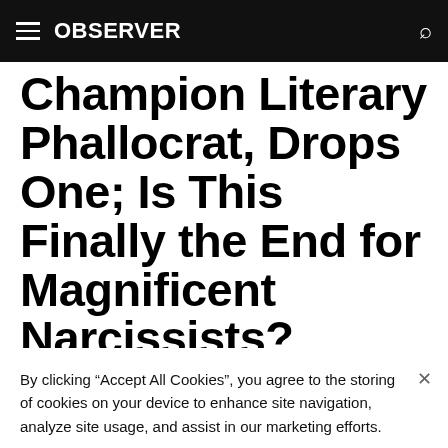OBSERVER
Champion Literary Phallocrat, Drops One; Is This Finally the End for Magnificent Narcissists?
“Of nothing but me… I sing, lacking another
By clicking “Accept All Cookies”, you agree to the storing of cookies on your device to enhance site navigation, analyze site usage, and assist in our marketing efforts.
Cookies Settings
Accept All Cookies